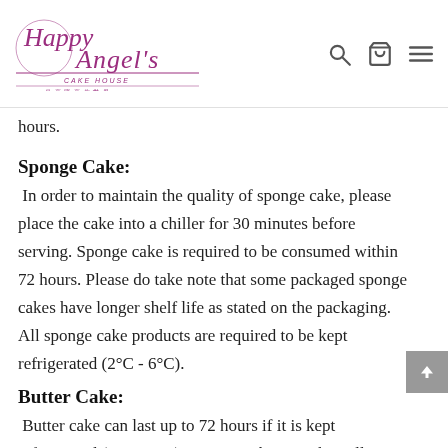Happy Angel's Cake House
hours.
Sponge Cake:
In order to maintain the quality of sponge cake, please place the cake into a chiller for 30 minutes before serving. Sponge cake is required to be consumed within 72 hours. Please do take note that some packaged sponge cakes have longer shelf life as stated on the packaging. All sponge cake products are required to be kept refrigerated (2°C - 6°C).
Butter Cake:
Butter cake can last up to 72 hours if it is kept refrigerated (2°C - 6°C). However, butter cake will